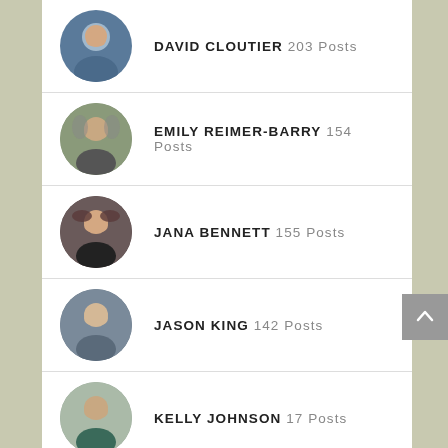DAVID CLOUTIER 203 Posts
EMILY REIMER-BARRY 154 Posts
JANA BENNETT 155 Posts
JASON KING 142 Posts
KELLY JOHNSON 17 Posts
LORRAINE CUDDEBACK-GEDEON 11 Posts